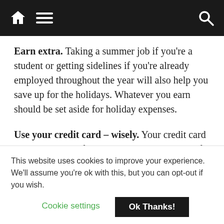[Navigation bar with home, menu, and search icons]
Earn extra. Taking a summer job if you're a student or getting sidelines if you're already employed throughout the year will also help you save up for the holidays. Whatever you earn should be set aside for holiday expenses.
Use your credit card – wisely. Your credit card can be your best friend or your worst enemy. If you use it responsibly, you can actually use it to your advantage. Some cards offer cash rebates and many reward points that you can later exchange for
This website uses cookies to improve your experience. We'll assume you're ok with this, but you can opt-out if you wish.
Cookie settings   Ok Thanks!